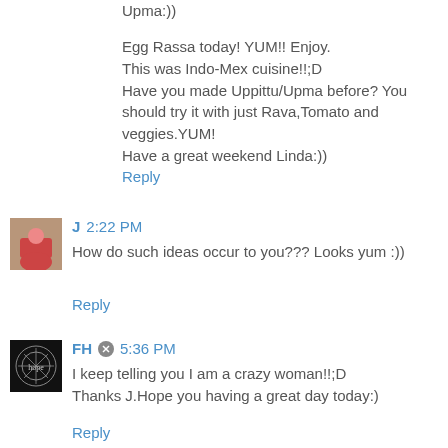Upma:))
Egg Rassa today! YUM!! Enjoy.
This was Indo-Mex cuisine!!;D
Have you made Uppittu/Upma before? You should try it with just Rava,Tomato and veggies.YUM!
Have a great weekend Linda:))
Reply
J  2:22 PM
How do such ideas occur to you??? Looks yum :))
Reply
FH  5:36 PM
I keep telling you I am a crazy woman!!;D
Thanks J.Hope you having a great day today:)
Reply